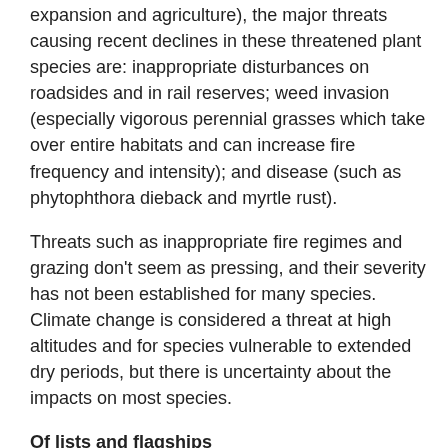expansion and agriculture), the major threats causing recent declines in these threatened plant species are: inappropriate disturbances on roadsides and in rail reserves; weed invasion (especially vigorous perennial grasses which take over entire habitats and can increase fire frequency and intensity); and disease (such as phytophthora dieback and myrtle rust).
Threats such as inappropriate fire regimes and grazing don't seem as pressing, and their severity has not been established for many species. Climate change is considered a threat at high altitudes and for species vulnerable to extended dry periods, but there is uncertainty about the impacts on most species.
Of lists and flagships
In an attempt to winnow our shortlist down even further, we have clumped our threatened plant species geographically and taxonomically – most occur where centres of endemism intersect with broad-scale threats, and because these...